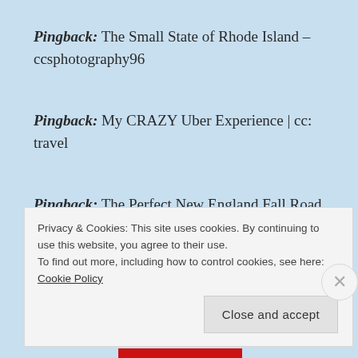Pingback: The Small State of Rhode Island – ccsphotography96
Pingback: My CRAZY Uber Experience | cc: travel
Pingback: The Perfect New England Fall Road Trip | cc: travel
Privacy & Cookies: This site uses cookies. By continuing to use this website, you agree to their use. To find out more, including how to control cookies, see here: Cookie Policy
Close and accept